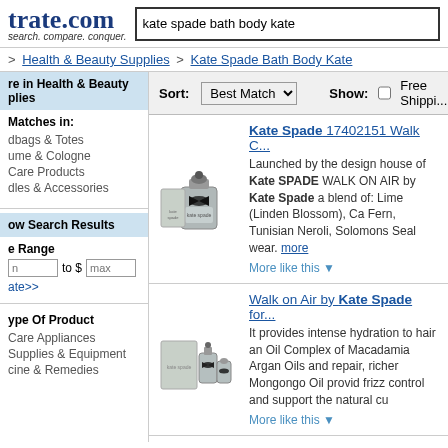trate.com — search. compare. conquer.
Search: kate spade bath body kate
> Health & Beauty Supplies > Kate Spade Bath Body Kate
re in Health & Beauty plies
Matches in:
dbags & Totes
ume & Cologne
Care Products
dles & Accessories
ow Search Results
e Range
n to $ max
ate>>
ype Of Product
Care Appliances
Supplies & Equipment
cine & Remedies
Sort: Best Match | Show: Free Shippi...
Kate Spade 17402151 Walk C... — Launched by the design house of Kate SPADE WALK ON AIR by Kate Spade a blend of: Lime (Linden Blossom), Ca Fern, Tunisian Neroli, Solomons Seal wear. more
More like this ▼
Walk on Air by Kate Spade for... — It provides intense hydration to hair an Oil Complex of Macadamia Argan Oils and repair, richer Mongongo Oil provid frizz control and support the natural cu
More like this ▼
Kate Spade New York Live Co... — Kate Spade New York Live Colorfully Rollerball was launched by the design in the year 2013. This floral fruity fra...